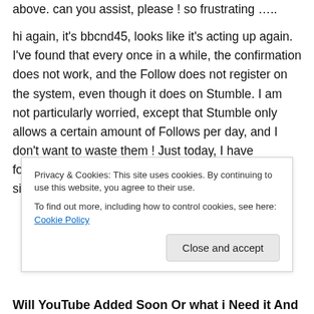above. can you assist, please ! so frustrating …..
hi again, it's bbcnd45, looks like it's acting up again. I've found that every once in a while, the confirmation does not work, and the Follow does not register on the system, even though it does on Stumble. I am not particularly worried, except that Stumble only allows a certain amount of Follows per day, and I don't want to waste them ! Just today, I have followed FolsomPrisonGang, WebCaptain, and singerleetyler, but I still get the
Privacy & Cookies: This site uses cookies. By continuing to use this website, you agree to their use.
To find out more, including how to control cookies, see here: Cookie Policy
Will YouTube Added Soon Or what i Need it And